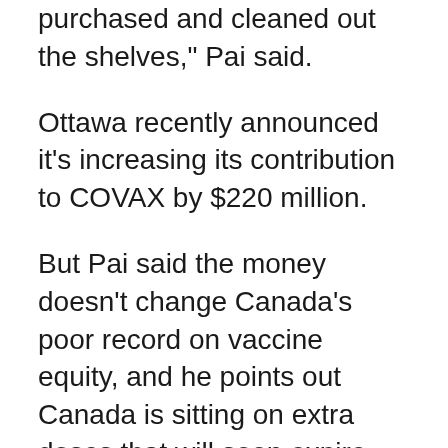purchased and cleaned out the shelves," Pai said.
Ottawa recently announced it's increasing its contribution to COVAX by $220 million.
But Pai said the money doesn't change Canada's poor record on vaccine equity, and he points out Canada is sitting on extra doses that will soon expire.
As of April 21, the country had a total of 14 million doses in its central inventory, according to information sent to CTV News by the Public Health Agency of Canada (PHAC).
Included are 5.3 million doses of Pfizer vaccine for adults, 894,000 doses of pediatric Pfizer vaccine, 4.9 million of Moderna and 3.1 million